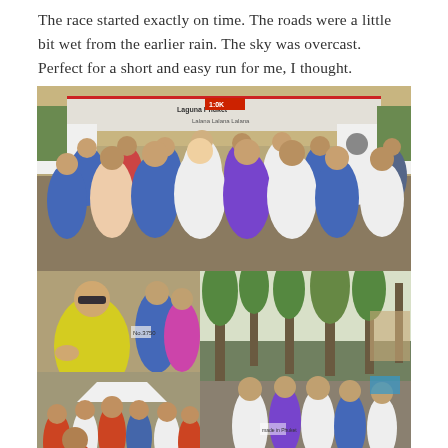The race started exactly on time. The roads were a little bit wet from the earlier rain. The sky was overcast. Perfect for a short and easy run for me, I thought.
[Figure (photo): Large crowd of runners at the starting line of a race, with sponsor banners including 'Laguna Phuket' and 'Lalana' visible overhead. Runners wearing branded singlets including Thai Airways logo.]
[Figure (photo): Close-up of runners before the race; a woman in a yellow singlet wearing sunglasses is prominent in the foreground.]
[Figure (photo): Runners moving along a course road lined with tall trees and palm trees.]
[Figure (photo): Crowd of runners gathered before the start of the race, with a white event tent visible in the background.]